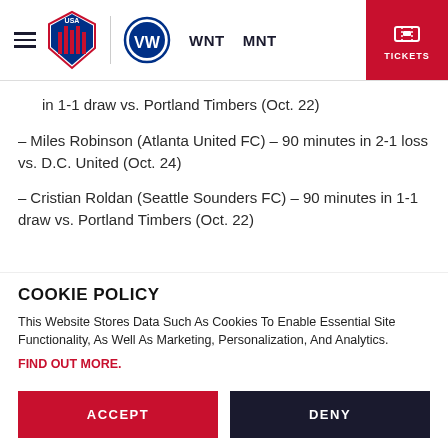USA Soccer navigation bar with hamburger menu, USA Soccer logo, Volkswagen logo, WNT, MNT links, and TICKETS button
in 1-1 draw vs. Portland Timbers (Oct. 22)
– Miles Robinson (Atlanta United FC) – 90 minutes in 2-1 loss vs. D.C. United (Oct. 24)
– Cristian Roldan (Seattle Sounders FC) – 90 minutes in 1-1 draw vs. Portland Timbers (Oct. 22)
COOKIE POLICY
This Website Stores Data Such As Cookies To Enable Essential Site Functionality, As Well As Marketing, Personalization, And Analytics. FIND OUT MORE.
ACCEPT | DENY